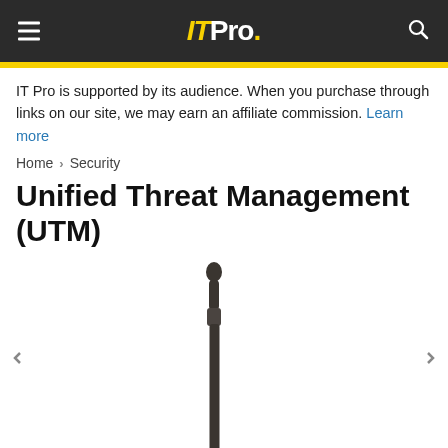IT Pro.
IT Pro is supported by its audience. When you purchase through links on our site, we may earn an affiliate commission. Learn more
Home > Security
Unified Threat Management (UTM)
[Figure (photo): Two dark antenna stubs visible at bottom of image against white background, suggesting a wireless router or UTM hardware device]